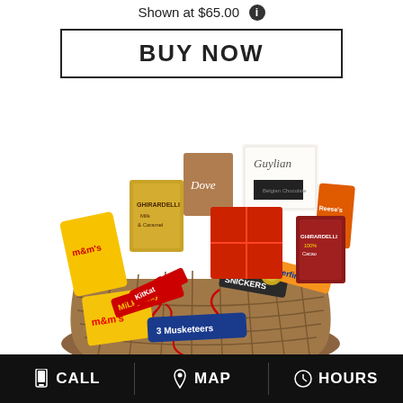Shown at $65.00
BUY NOW
[Figure (photo): A wicker gift basket filled with various chocolate candy bars and boxes including M&Ms, 3 Musketeers, Snickers, Milky Way, Ghirardelli, Dove, GuyLian, Reese's, Butterfinger, and Ferrero Rocher, decorated with red ribbon curls.]
CALL  MAP  HOURS